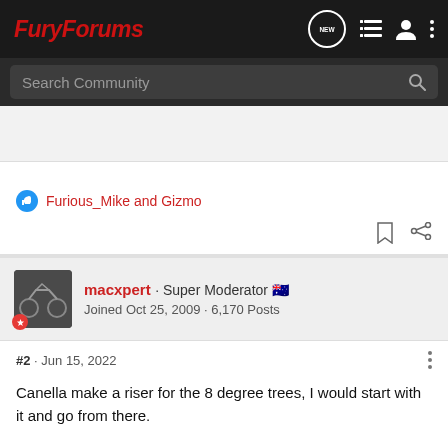FuryForums
Search Community
Furious_Mike and Gizmo
macxpert · Super Moderator | Joined Oct 25, 2009 · 6,170 Posts
#2 · Jun 15, 2022
Canella make a riser for the 8 degree trees, I would start with it and go from there.